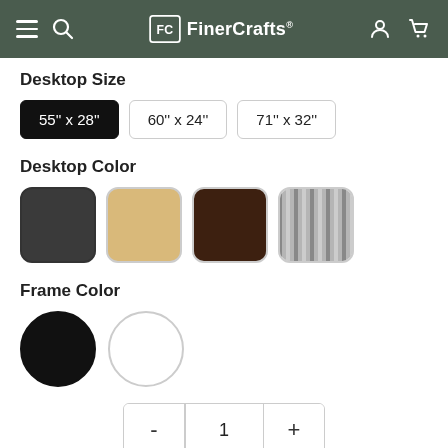FinerCrafts
Desktop Size
55" x 28" (selected), 60" x 24", 71" x 32"
Desktop Color
[Figure (illustration): Four desktop color swatches: dark grey/black, light maple/beige, dark walnut brown, grey striped]
Frame Color
[Figure (illustration): Two frame color circles: black (selected) and white]
- 1 +
ADD TO CART
Premium electric standing desk that is